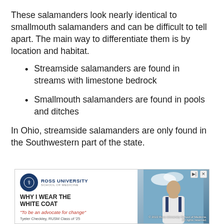These salamanders look nearly identical to smallmouth salamanders and can be difficult to tell apart. The main way to differentiate them is by location and habitat.
Streamside salamanders are found in streams with limestone bedrock
Smallmouth salamanders are found in pools and ditches
In Ohio, streamside salamanders are only found in the Southwestern part of the state.
[Figure (screenshot): Advertisement banner for Ross University School of Medicine featuring a man in a white coat. Headline reads 'WHY I WEAR THE WHITE COAT' with quote 'To be an advocate for change' by Tyeler Checkley, RUSM Class of '25. Copyright 2022 Ross University School of Medicine. All rights reserved.]